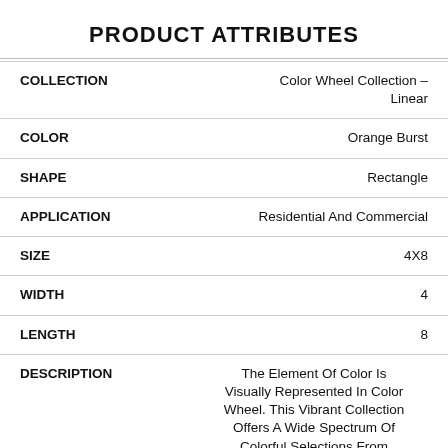PRODUCT ATTRIBUTES
| Attribute | Value |
| --- | --- |
| COLLECTION | Color Wheel Collection - Linear |
| COLOR | Orange Burst |
| SHAPE | Rectangle |
| APPLICATION | Residential And Commercial |
| SIZE | 4X8 |
| WIDTH | 4 |
| LENGTH | 8 |
| DESCRIPTION | The Element Of Color Is Visually Represented In Color Wheel. This Vibrant Collection Offers A Wide Spectrum Of Colorful Selections From |